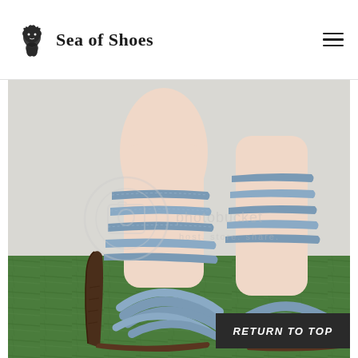Sea of Shoes
[Figure (photo): Close-up photo of a woman's feet wearing blue leather strappy high-heel sandals with a dark brown wooden heel and platform, standing on a green painted surface. The shoes have multiple crossing leather straps wrapping around the ankle. A Photobucket watermark is visible on the image.]
RETURN TO TOP